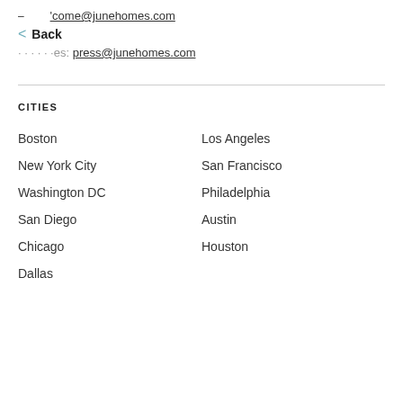'come@junehomes.com
Back
Press inquiries: press@junehomes.com
CITIES
Boston
Los Angeles
New York City
San Francisco
Washington DC
Philadelphia
San Diego
Austin
Chicago
Houston
Dallas